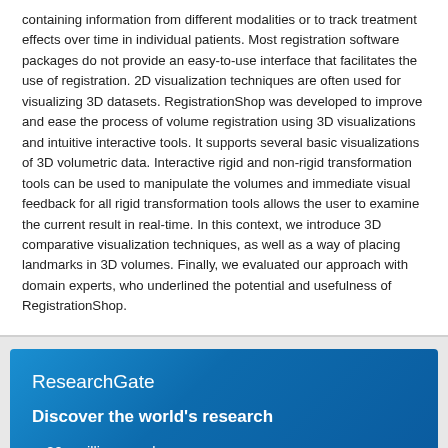containing information from different modalities or to track treatment effects over time in individual patients. Most registration software packages do not provide an easy-to-use interface that facilitates the use of registration. 2D visualization techniques are often used for visualizing 3D datasets. RegistrationShop was developed to improve and ease the process of volume registration using 3D visualizations and intuitive interactive tools. It supports several basic visualizations of 3D volumetric data. Interactive rigid and non-rigid transformation tools can be used to manipulate the volumes and immediate visual feedback for all rigid transformation tools allows the user to examine the current result in real-time. In this context, we introduce 3D comparative visualization techniques, as well as a way of placing landmarks in 3D volumes. Finally, we evaluated our approach with domain experts, who underlined the potential and usefulness of RegistrationShop.
ResearchGate
Discover the world's research
20+ million members